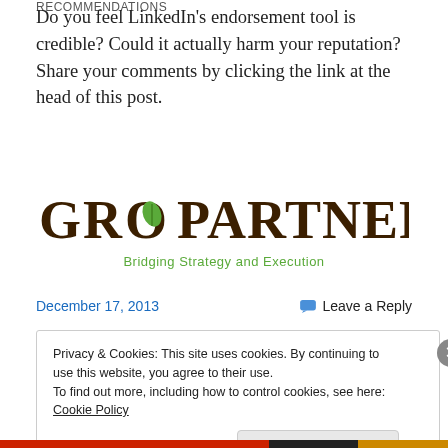RECOMMENDATIONS
Do you feel LinkedIn’s endorsement tool is credible? Could it actually harm your reputation? Share your comments by clicking the link at the head of this post.
[Figure (logo): GroPartners logo with leaf icon, tagline: Bridging Strategy and Execution]
December 17, 2013    💬 Leave a Reply
Privacy & Cookies: This site uses cookies. By continuing to use this website, you agree to their use.
To find out more, including how to control cookies, see here: Cookie Policy
Close and accept